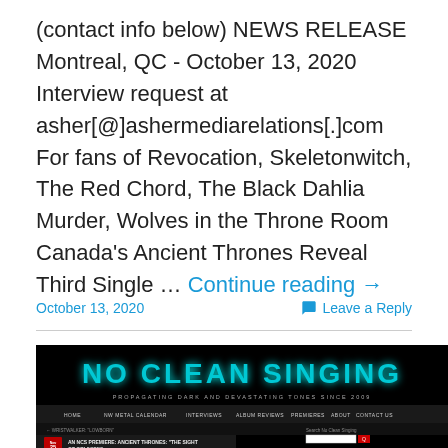(contact info below) NEWS RELEASE Montreal, QC - October 13, 2020 Interview request at asher[@]ashermediarelations[.]com For fans of Revocation, Skeletonwitch, The Red Chord, The Black Dahlia Murder, Wolves in the Throne Room Canada's Ancient Thrones Reveal Third Single … Continue reading →
October 13, 2020
Leave a Reply
[Figure (screenshot): Screenshot of the No Clean Singing website showing the header with the logo 'NO CLEAN SINGING' in teal metal font on a black background, navigation bar with HOME, NW METAL CALENDAR, INTERVIEWS, ALBUM REVIEWS, PREMIERES, ABOUT, CONTACT US, and an article preview titled 'AN NCS PREMIERE: ANCIENT THRONES: THE SIGHT OF OBLIVION']